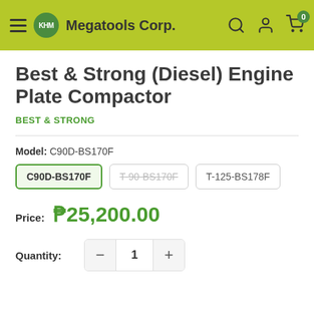KHM Megatools Corp.
Best & Strong (Diesel) Engine Plate Compactor
BEST & STRONG
Model: C90D-BS170F
C90D-BS170F
T-90-BS170F
T-125-BS178F
Price: ₱25,200.00
Quantity: 1